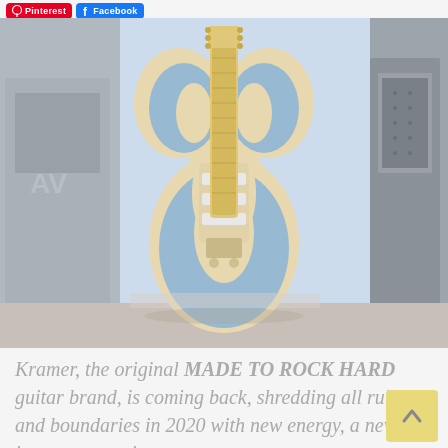Pinterest | Facebook
[Figure (photo): A Kramer electric guitar with a distinctive blue and cream swirling flame pattern on the body, leaning against a light blue wall next to what appears to be a speaker cabinet. The guitar has a Stratocaster-style shape with a maple neck.]
Kramer, the original MADE TO ROCK HARD guitar brand, is coming back, shredding all rules and boundaries in 2020 with new energy, a new image, new guitar